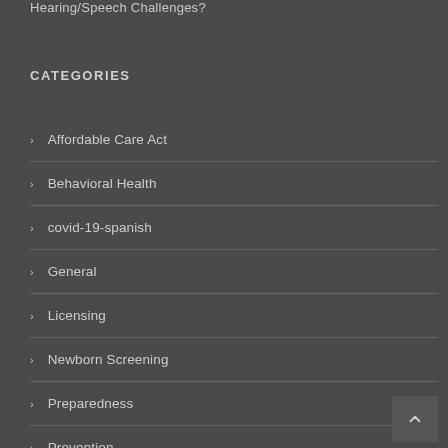Hearing/Speech Challenges?
CATEGORIES
Affordable Care Act
Behavioral Health
covid-19-spanish
General
Licensing
Newborn Screening
Preparedness
Prevention
Uncategorized